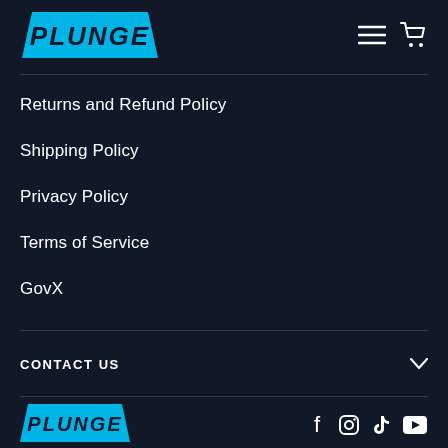[Figure (logo): PLUNGE brand logo — cyan trapezoid shape with bold italic PLUNGE text in dark navy]
[Figure (illustration): Hamburger menu icon and shopping cart icon in white, top right]
Returns and Refund Policy
Shipping Policy
Privacy Policy
Terms of Service
GovX
CONTACT US
[Figure (logo): PLUNGE brand logo — smaller cyan trapezoid with bold italic PLUNGE text, in footer]
[Figure (illustration): Social media icons: Facebook, Instagram, TikTok, YouTube in white]